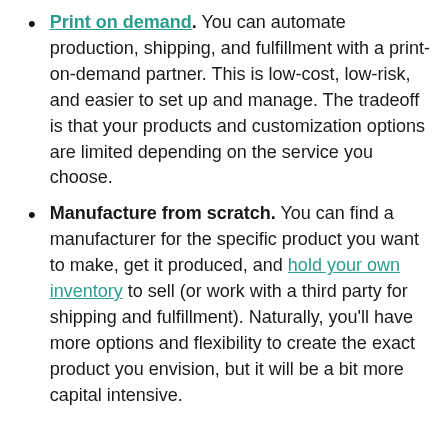Print on demand. You can automate production, shipping, and fulfillment with a print-on-demand partner. This is low-cost, low-risk, and easier to set up and manage. The tradeoff is that your products and customization options are limited depending on the service you choose.
Manufacture from scratch. You can find a manufacturer for the specific product you want to make, get it produced, and hold your own inventory to sell (or work with a third party for shipping and fulfillment). Naturally, you'll have more options and flexibility to create the exact product you envision, but it will be a bit more capital intensive.